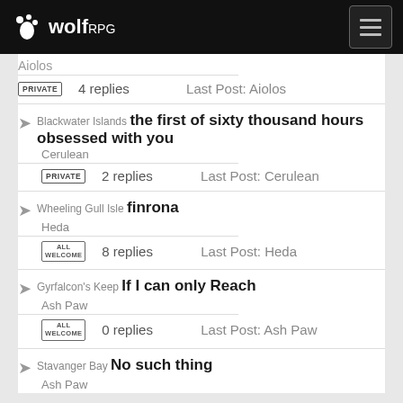wolfRPG
Aiolos
PRIVATE   4 replies   Last Post: Aiolos
Blackwater Islands the first of sixty thousand hours obsessed with you
Cerulean
PRIVATE   2 replies   Last Post: Cerulean
Wheeling Gull Isle finrona
Heda
ALL WELCOME   8 replies   Last Post: Heda
Gyrfalcon's Keep If I can only Reach
Ash Paw
ALL WELCOME   0 replies   Last Post: Ash Paw
Stavanger Bay No such thing
Ash Paw